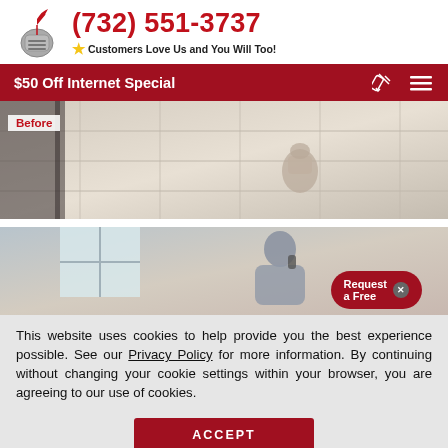[Figure (logo): Knight logo with quill pen on top]
(732) 551-3737
Customers Love Us and You Will Too!
$50 Off Internet Special
[Figure (photo): Before photo showing floor cleaning with knight mascot]
[Figure (photo): Photo of smiling woman on phone with Request a Free overlay button]
This website uses cookies to help provide you the best experience possible. See our Privacy Policy for more information. By continuing without changing your cookie settings within your browser, you are agreeing to our use of cookies.
ACCEPT